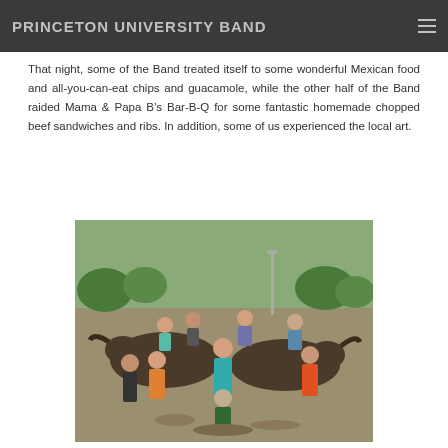PRINCETON UNIVERSITY BAND
That night, some of the Band treated itself to some wonderful Mexican food and all-you-can-eat chips and guacamole, while the other half of the Band raided Mama & Papa B’s Bar-B-Q for some fantastic homemade chopped beef sandwiches and ribs. In addition, some of us experienced the local art.
[Figure (photo): Group photo of Princeton University Band members posing with large bronze longhorn cattle sculptures outdoors. Several students are sitting on or standing next to the statues. Trees are visible in the background.]